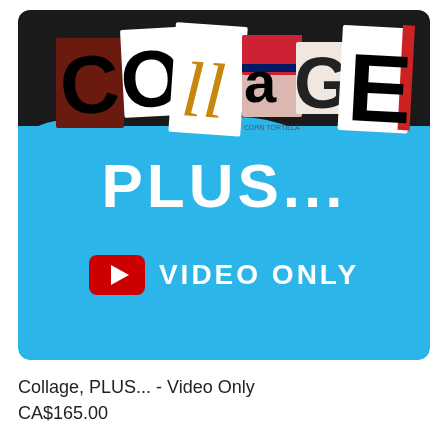[Figure (illustration): Product thumbnail showing a collage art design with letters spelling COLLAGE in mixed magazine-cut style on a black background transitioning to bright blue. Below the collage letters: large white text 'PLUS...' and a YouTube-style play button icon followed by 'VIDEO ONLY' in white.]
Collage, PLUS... - Video Only
CA$165.00